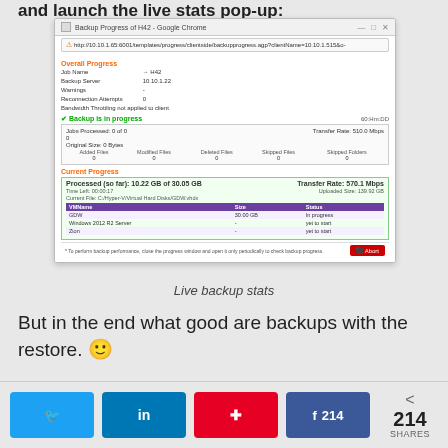and launch the live stats pop-up:
[Figure (screenshot): Screenshot of Backup Progress of H42 - Google Chrome browser window showing live backup stats with Overall Progress and Current Progress sections, VM table with GDW, Windows 2012 R2 Server, and Zion entries]
Live backup stats
But in the end what good are backups with the restore. 🙂
214 SHARES (Twitter, LinkedIn, Pinterest, Facebook share buttons)